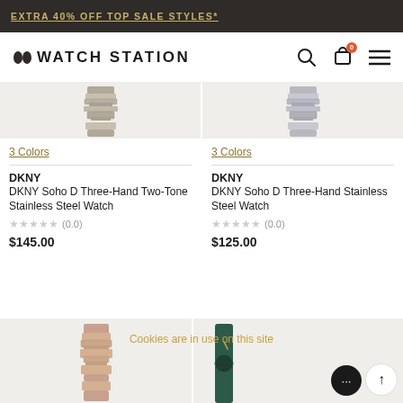EXTRA 40% OFF TOP SALE STYLES*
[Figure (logo): Watch Station logo with two dark oval dots and bold text WATCH STATION]
3 Colors
3 Colors
DKNY
DKNY Soho D Three-Hand Two-Tone Stainless Steel Watch
(0.0)
$145.00
DKNY
DKNY Soho D Three-Hand Stainless Steel Watch
(0.0)
$125.00
Cookies are in use on this site